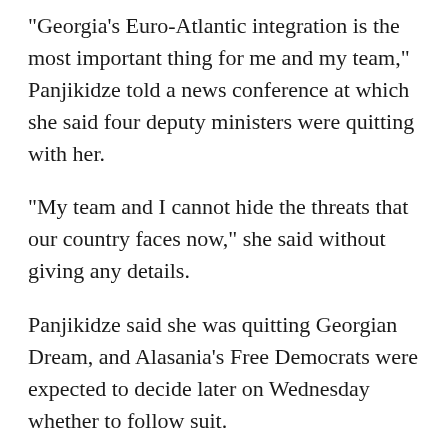"Georgia's Euro-Atlantic integration is the most important thing for me and my team," Panjikidze told a news conference at which she said four deputy ministers were quitting with her.
"My team and I cannot hide the threats that our country faces now," she said without giving any details.
Panjikidze said she was quitting Georgian Dream, and Alasania's Free Democrats were expected to decide later on Wednesday whether to follow suit.
Alexy Petriashvili, State Minister for European and Euro-Atlantic Integration, tendered his resignation by letter to Garibashvili, carrying out an earlier